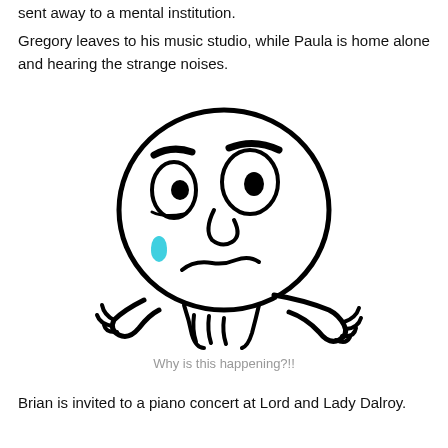sent away to a mental institution.
Gregory leaves to his music studio, while Paula is home alone and hearing the strange noises.
[Figure (illustration): Internet rage/crying meme face (trollface variant) showing an angry/sad face with a teal teardrop, furrowed brows, and hands raised up in frustration. Black and white line art style.]
Why is this happening?!!
Brian is invited to a piano concert at Lord and Lady Dalroy.